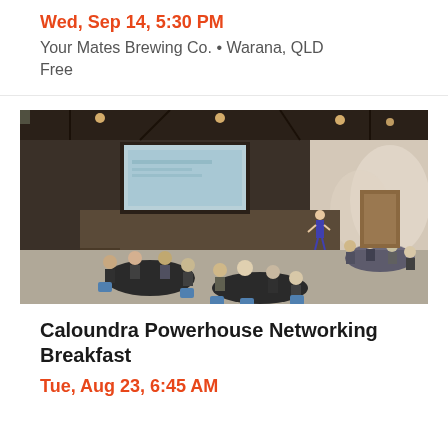Wed, Sep 14, 5:30 PM
Your Mates Brewing Co. • Warana, QLD
Free
[Figure (photo): Conference room with people seated at round tables listening to a presenter standing on a stage in front of a projected screen, large venue hall with dark walls and grey carpet]
Caloundra Powerhouse Networking Breakfast
Tue, Aug 23, 6:45 AM